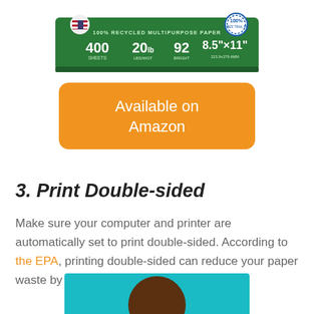[Figure (photo): Green recycled multipurpose paper box (100% Recycled Multipurpose Paper, 400 sheets, 20lb, 92 brightness, 8.5x11 inch) partially cropped at top of page]
Available on Amazon
3. Print Double-sided
Make sure your computer and printer are automatically set to print double-sided. According to the EPA, printing double-sided can reduce your paper waste by 10 - 40%.
[Figure (photo): Teal/cyan background image partially visible at bottom of page with a dark brown circular shape (person's head) visible]